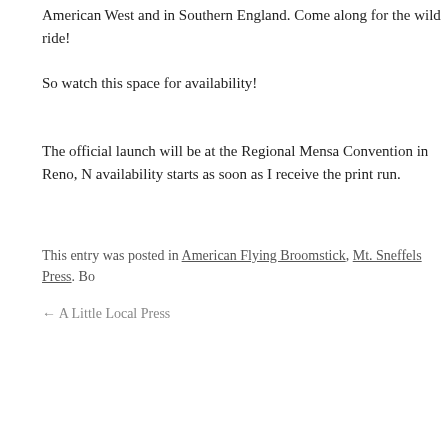American West and in Southern England. Come along for the wild ride!
So watch this space for availability!
The official launch will be at the Regional Mensa Convention in Reno, N availability starts as soon as I receive the print run.
This entry was posted in American Flying Broomstick, Mt. Sneffels Press. Bo
← A Little Local Press